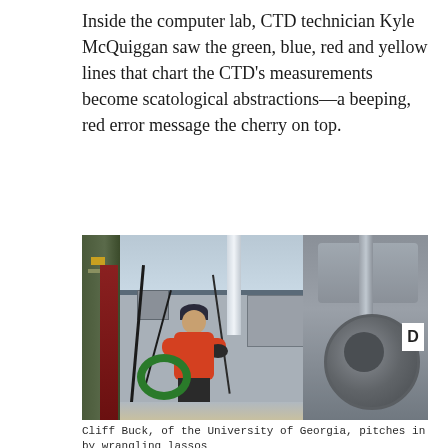Inside the computer lab, CTD technician Kyle McQuiggan saw the green, blue, red and yellow lines that chart the CTD's measurements become scatological abstractions—a beeping, red error message the cherry on top.
[Figure (photo): A person in an orange jacket and dark beanie hat stands on a research ship deck, smiling, holding cables or lassos near a large winch/drum mechanism. The ocean is visible in the background. Green hose coils are on the deck.]
Cliff Buck, of the University of Georgia, pitches in by wrangling lassos